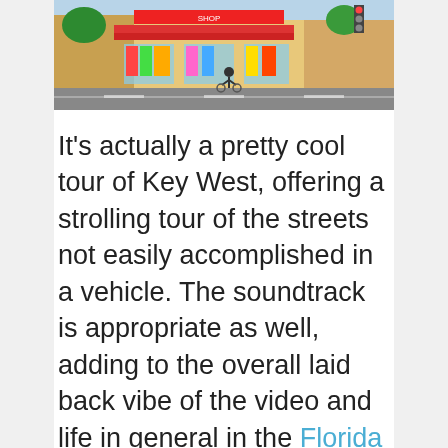[Figure (photo): A colorful street scene in Key West showing a shop front with vibrant colors, people on bicycles, and palm trees in bright daylight.]
It's actually a pretty cool tour of Key West, offering a strolling tour of the streets not easily accomplished in a vehicle. The soundtrack is appropriate as well, adding to the overall laid back vibe of the video and life in general in the Florida Keys. It will be the best three minutes of your day, a little over 180 seconds of Key West whispering "come see me now." Spending the day cruising the streets of Key West on a tricycle